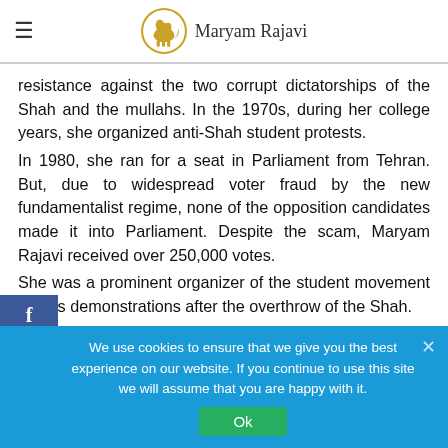Maryam Rajavi
resistance against the two corrupt dictatorships of the Shah and the mullahs. In the 1970s, during her college years, she organized anti-Shah student protests.
In 1980, she ran for a seat in Parliament from Tehran. But, due to widespread voter fraud by the new fundamentalist regime, none of the opposition candidates made it into Parliament. Despite the scam, Maryam Rajavi received over 250,000 votes.
She was a prominent organizer of the student movement and its demonstrations after the overthrow of the Shah.
We use cookies to ensure that we give you the best experience on our website. If you continue to use this site we will assume that you are happy with it.